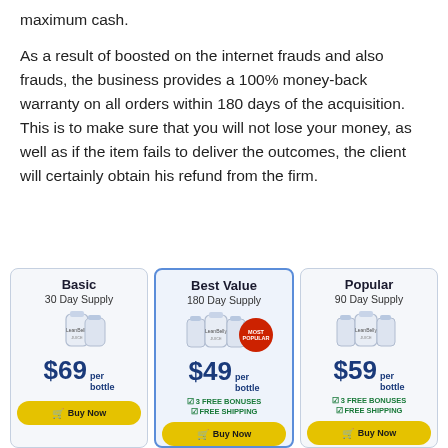maximum cash.
As a result of boosted on the internet frauds and also frauds, the business provides a 100% money-back warranty on all orders within 180 days of the acquisition. This is to make sure that you will not lose your money, as well as if the item fails to deliver the outcomes, the client will certainly obtain his refund from the firm.
| Basic | Best Value | Popular |
| --- | --- | --- |
| 30 Day Supply | 180 Day Supply | 90 Day Supply |
| $69 per bottle | $49 per bottle
✅ 3 FREE BONUSES
✅ FREE SHIPPING | $59 per bottle
✅ 3 FREE BONUSES
✅ FREE SHIPPING |
| Buy Now | Buy Now | Buy Now |